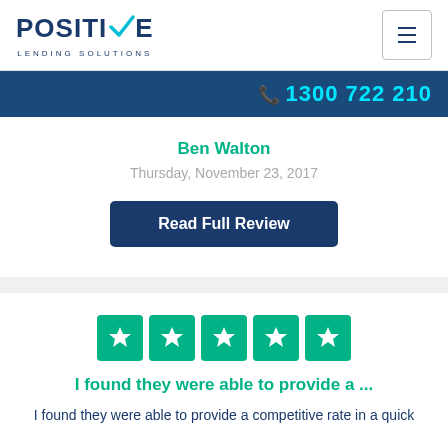POSITIVE LENDING SOLUTIONS
1300 722 210
Ben Walton
Thursday, November 23, 2017
Read Full Review
[Figure (other): Five green star rating boxes (Trustpilot-style stars)]
I found they were able to provide a ...
I found they were able to provide a competitive rate in a quick